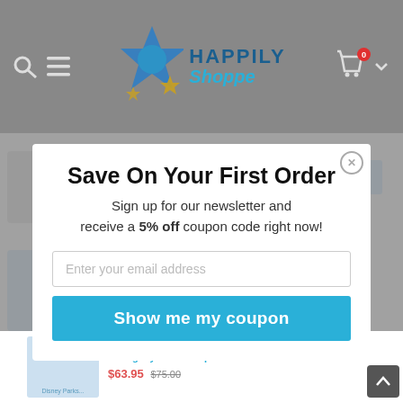Happily Shoppe
Save On Your First Order
Sign up for our newsletter and receive a 5% off coupon code right now!
Enter your email address
Show me my coupon
Disney Parks Hocus Pocus Loungefly Mini Backpack
$63.95 $75.00